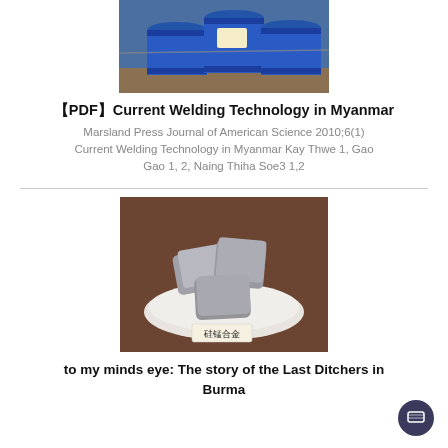[Figure (photo): Blue industrial drums/barrels stacked on wooden pallets in a warehouse setting]
【PDF】Current Welding Technology in Myanmar
Marsland Press Journal of American Science 2010;6(1) Current Welding Technology in Myanmar Kay Thwe 1, Gao Gao 1, 2, Naing Thiha Soe3 1,2
[Figure (photo): Silvery metallic chunks/pieces on a white plate with a Chinese label tag reading 硅锰合金]
to my minds eye: The story of the Last Ditchers in Burma